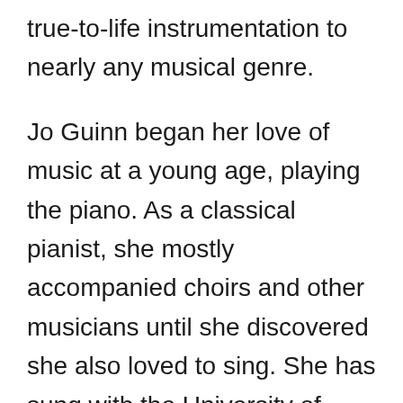true-to-life instrumentation to nearly any musical genre.
Jo Guinn began her love of music at a young age, playing the piano. As a classical pianist, she mostly accompanied choirs and other musicians until she discovered she also loved to sing. She has sung with the University of Wisconsin Oshkosh's Chamber Choir, the Oshkosh Chamber